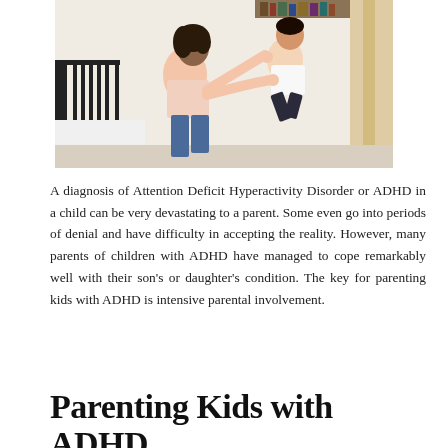[Figure (photo): A woman holding the hands of a child who is jumping in the air inside a room near a bed with black metal headboard. The woman wears a light pink top and jeans; the child wears a white shirt and dark pants and is barefoot.]
A diagnosis of Attention Deficit Hyperactivity Disorder or ADHD in a child can be very devastating to a parent. Some even go into periods of denial and have difficulty in accepting the reality. However, many parents of children with ADHD have managed to cope remarkably well with their son’s or daughter’s condition. The key for parenting kids with ADHD is intensive parental involvement.
Parenting Kids with ADHD